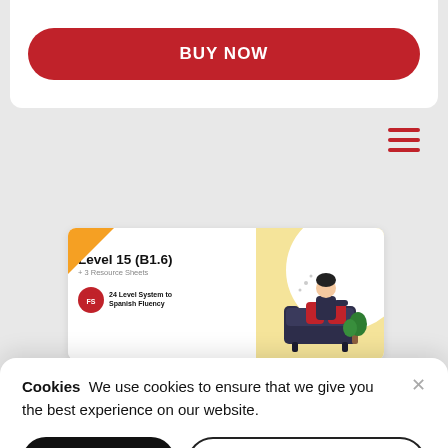[Figure (screenshot): Red rounded 'BUY NOW' button on white card background]
[Figure (screenshot): Hamburger menu icon with three red horizontal lines]
[Figure (illustration): Course card thumbnail for Level 15 (B1.6) showing orange corner, course title, subtitle '+ 3 Resource Sheets', badge with '24 Level System to Spanish Fluency', and illustration of person on couch on yellow background]
Cookies  We use cookies to ensure that we give you the best experience on our website.
[Figure (screenshot): ACCEPT button (black rounded) and LEARN MORE & ADJUST button (white outlined rounded)]